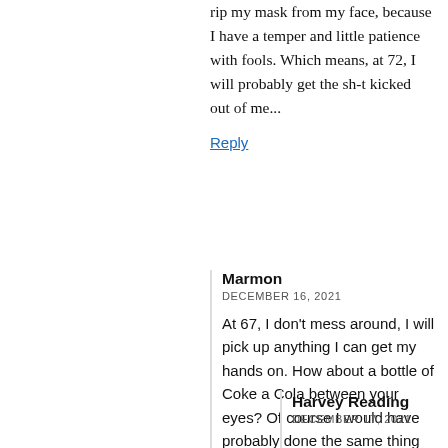rip my mask from my face, because I have a temper and little patience with fools. Which means, at 72, I will probably get the sh-t kicked out of me...
Reply
Marmon
DECEMBER 16, 2021
At 67, I don't mess around, I will pick up anything I can get my hands on. How about a bottle of Coke a Cola between your eyes? Of course I would have probably done the same thing 20 or 40 years ago.
Marmon
Reply
Harvey Reading
DECEMBER 17, 2021